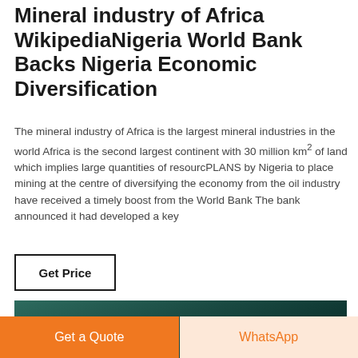Mineral industry of Africa WikipediaNigeria World Bank Backs Nigeria Economic Diversification
The mineral industry of Africa is the largest mineral industries in the world Africa is the second largest continent with 30 million km² of land which implies large quantities of resourcPLANS by Nigeria to place mining at the centre of diversifying the economy from the oil industry have received a timely boost from the World Bank The bank announced it had developed a key
Get Price
[Figure (photo): Partial view of a person wearing dark green or teal clothing, cropped near the top of the image]
Get a Quote
WhatsApp